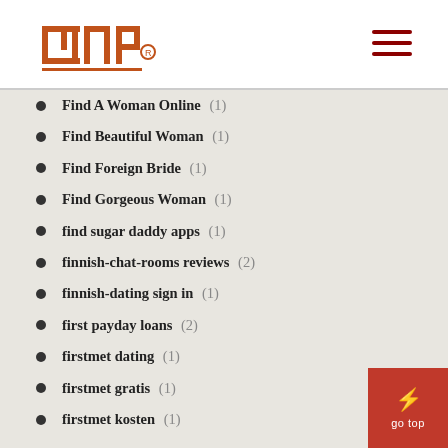INP logo and navigation menu
Find A Woman Online (1)
Find Beautiful Woman (1)
Find Foreign Bride (1)
Find Gorgeous Woman (1)
find sugar daddy apps (1)
finnish-chat-rooms reviews (2)
finnish-dating sign in (1)
first payday loans (2)
firstmet dating (1)
firstmet gratis (1)
firstmet kosten (1)